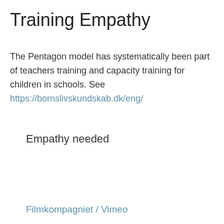Training Empathy
The Pentagon model has systematically been part of teachers training and capacity training for children in schools. See https://bornslivskundskab.dk/eng/
Empathy needed
Filmkompagniet / Vimeo